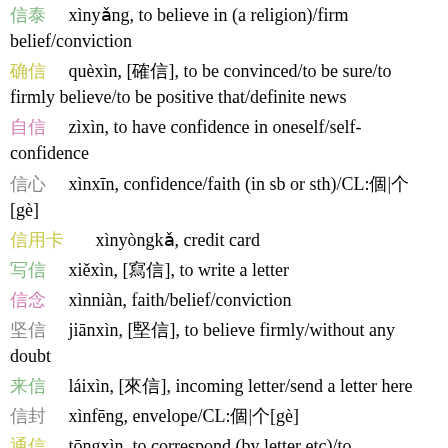信仰  xìnyǎng, to believe in (a religion)/firm belief/conviction
确信  quèxìn, [確信], to be convinced/to be sure/to firmly believe/to be positive that/definite news
自信  zìxìn, to have confidence in oneself/self-confidence
信心  xìnxīn, confidence/faith (in sb or sth)/CL:個|个[gè]
信用卡  xìnyòngkǎ, credit card
写信  xiěxìn, [寫信], to write a letter
信念  xìnniàn, faith/belief/conviction
坚信  jiānxìn, [堅信], to believe firmly/without any doubt
来信  láixìn, [來信], incoming letter/send a letter here
信封  xìnfēng, envelope/CL:個|个[gè]
通信  tōngxìn, to correspond (by letter etc)/to